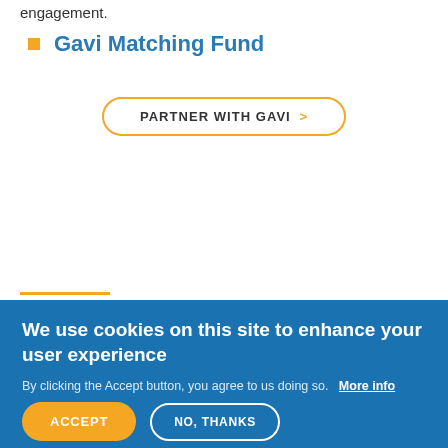engagement.
Gavi Matching Fund
PARTNER WITH GAVI >
LATEST PARTNER NEWS
We use cookies on this site to enhance your user experience
By clicking the Accept button, you agree to us doing so.   More info
ACCEPT
NO, THANKS